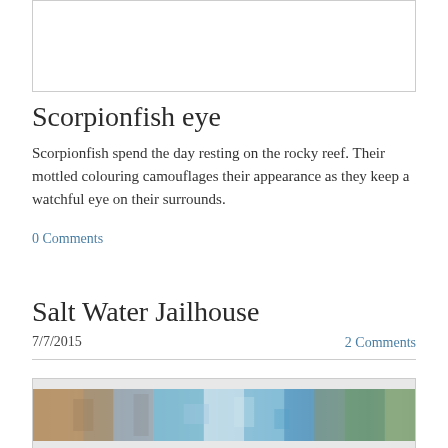[Figure (other): White box at top of page, partially visible]
Scorpionfish eye
Scorpionfish spend the day resting on the rocky reef. Their mottled colouring camouflages their appearance as they keep a watchful eye on their surrounds.
0 Comments
Salt Water Jailhouse
7/7/2015
2 Comments
[Figure (photo): Panoramic underwater/coastal scene showing rocky reef, ocean waves, and coral with blue water tones]